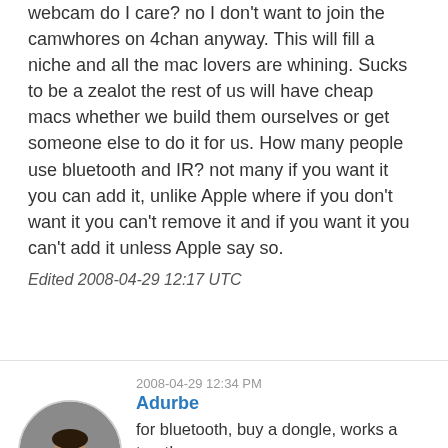webcam do I care? no I don't want to join the camwhores on 4chan anyway. This will fill a niche and all the mac lovers are whining. Sucks to be a zealot the rest of us will have cheap macs whether we build them ourselves or get someone else to do it for us. How many people use bluetooth and IR? not many if you want it you can add it, unlike Apple where if you don't want it you can't remove it and if you want it you can't add it unless Apple say so.
Edited 2008-04-29 12:17 UTC
[Figure (photo): Circular avatar photo of a man in a suit holding something near his face]
2008-04-29 12:34 PM
Adurbe
for bluetooth, buy a dongle, works a treat!
These machines are all well and good, indeed they are cheap with not bad specs BUT by not being able to run the OS you are essentially